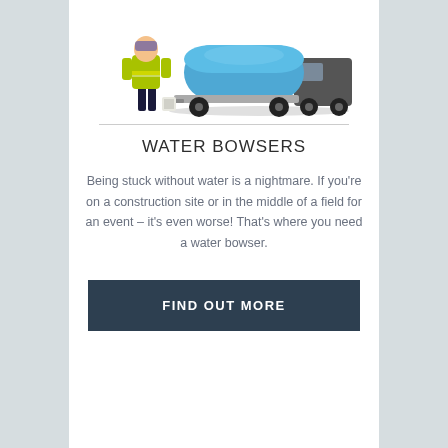[Figure (illustration): A person in a yellow high-visibility vest standing next to a large blue water bowser trailer attached to a vehicle.]
WATER BOWSERS
Being stuck without water is a nightmare. If you're on a construction site or in the middle of a field for an event – it's even worse! That's where you need a water bowser.
FIND OUT MORE